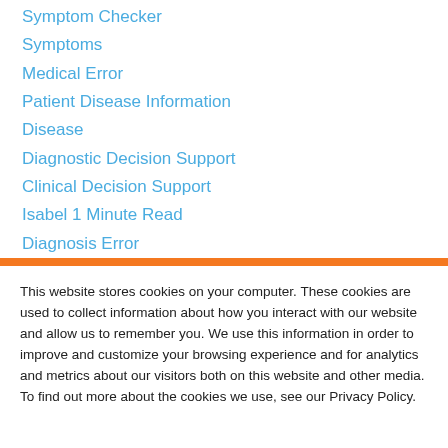Symptom Checker
Symptoms
Medical Error
Patient Disease Information
Disease
Diagnostic Decision Support
Clinical Decision Support
Isabel 1 Minute Read
Diagnosis Error
Diagnosis Skills Cases
This website stores cookies on your computer. These cookies are used to collect information about how you interact with our website and allow us to remember you. We use this information in order to improve and customize your browsing experience and for analytics and metrics about our visitors both on this website and other media. To find out more about the cookies we use, see our Privacy Policy.
Accept